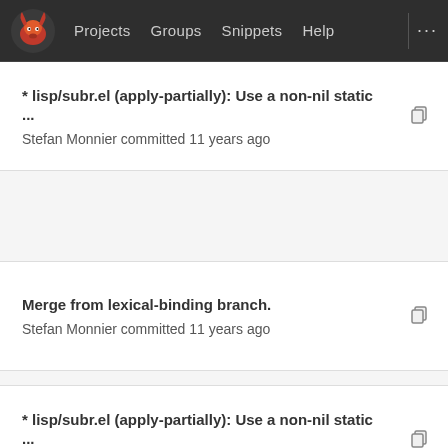Projects  Groups  Snippets  Help  ...
* lisp/subr.el (apply-partially): Use a non-nil static ...
Stefan Monnier committed 11 years ago
Merge from lexical-binding branch.
Stefan Monnier committed 11 years ago
* lisp/subr.el (apply-partially): Use a non-nil static ...
Stefan Monnier committed 11 years ago